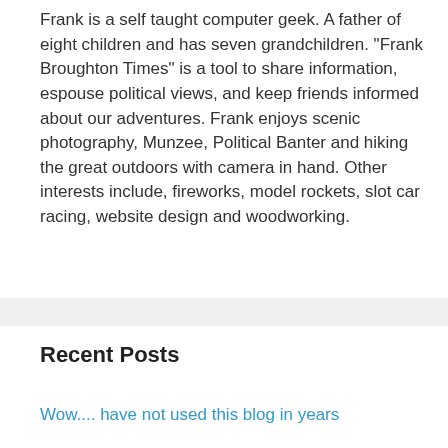Frank is a self taught computer geek. A father of eight children and has seven grandchildren. "Frank Broughton Times" is a tool to share information, espouse political views, and keep friends informed about our adventures. Frank enjoys scenic photography, Munzee, Political Banter and hiking the great outdoors with camera in hand. Other interests include, fireworks, model rockets, slot car racing, website design and woodworking.
Recent Posts
Wow.... have not used this blog in years